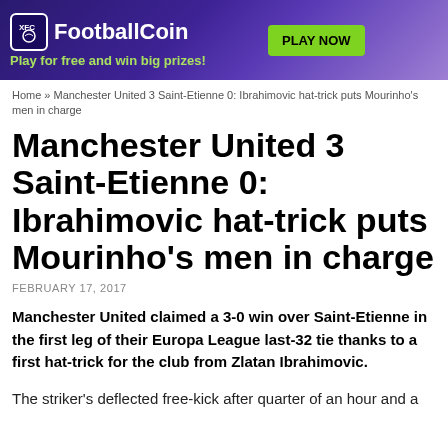[Figure (other): FootballCoin advertisement banner with purple gradient background, XFC logo, brand name 'FootballCoin', tagline 'Play for free and win big prizes!', a green 'PLAY NOW' button, and a footballer image on the right side.]
Home » Manchester United 3 Saint-Etienne 0: Ibrahimovic hat-trick puts Mourinho's men in charge
Manchester United 3 Saint-Etienne 0: Ibrahimovic hat-trick puts Mourinho's men in charge
FEBRUARY 17, 2017
Manchester United claimed a 3-0 win over Saint-Etienne in the first leg of their Europa League last-32 tie thanks to a first hat-trick for the club from Zlatan Ibrahimovic.
The striker's deflected free-kick after quarter of an hour and a